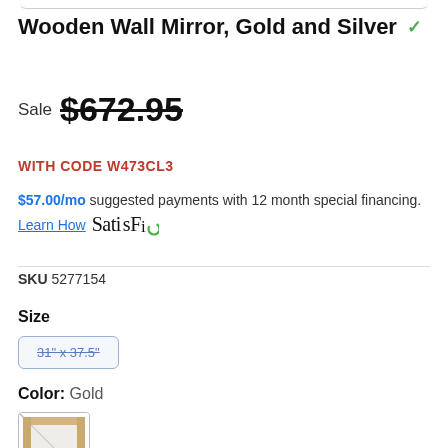Wooden Wall Mirror, Gold and Silver ✓
Sale $672.95
WITH CODE W473CL3
$57.00/mo suggested payments with 12 month special financing.
Learn How   SatisFi
SKU 5277154
Size
31" x 37.5"
Color: Gold
[Figure (photo): Product swatch image showing gold wooden mirror frame]